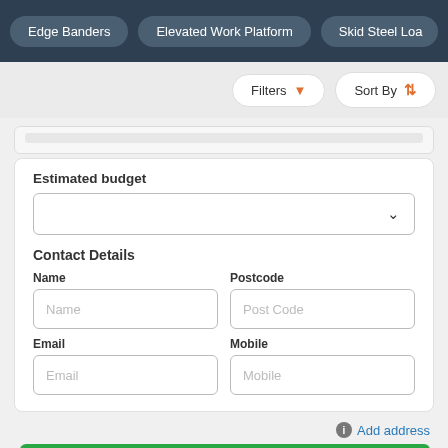Edge Banders | Elevated Work Platform | Skid Steel Loa…
Filters | Sort By
Estimated budget
Contact Details
Name
Postcode
Email
Mobile
Add address
Submit Request